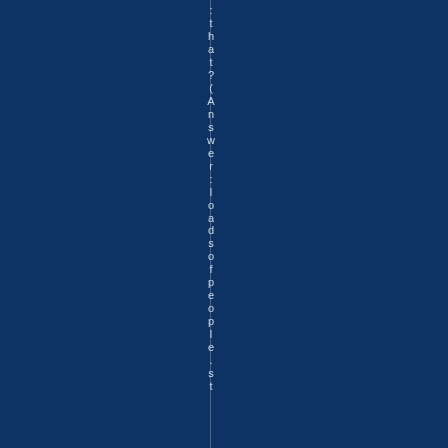:that?(Answer:loadsofpeople.st